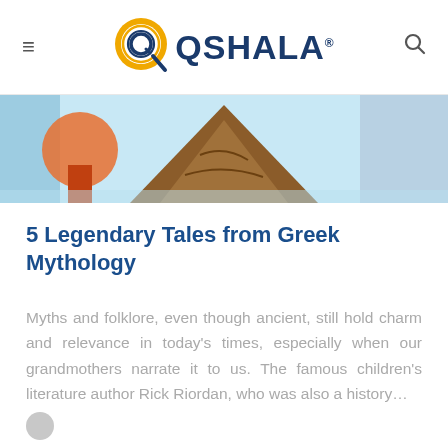QSHALA
[Figure (illustration): Colorful illustration of a mountain scene with cartoon-style landscape elements, possibly depicting a scene from Greek mythology]
5 Legendary Tales from Greek Mythology
Myths and folklore, even though ancient, still hold charm and relevance in today’s times, especially when our grandmothers narrate it to us. The famous children’s literature author Rick Riordan, who was also a history…